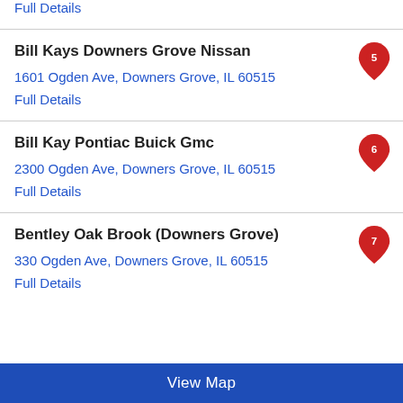Full Details
Bill Kays Downers Grove Nissan
1601 Ogden Ave, Downers Grove, IL 60515
Full Details
Bill Kay Pontiac Buick Gmc
2300 Ogden Ave, Downers Grove, IL 60515
Full Details
Bentley Oak Brook (Downers Grove)
330 Ogden Ave, Downers Grove, IL 60515
Full Details
View Map